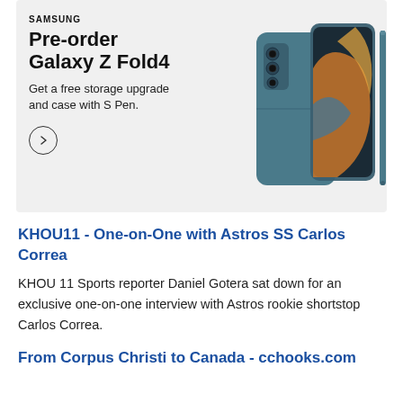[Figure (advertisement): Samsung advertisement for Galaxy Z Fold4. Dark gray/teal foldable phone with S Pen shown on right. Text: SAMSUNG, Pre-order Galaxy Z Fold4, Get a free storage upgrade and case with S Pen. Circle arrow button on lower left.]
KHOU11 - One-on-One with Astros SS Carlos Correa
KHOU 11 Sports reporter Daniel Gotera sat down for an exclusive one-on-one interview with Astros rookie shortstop Carlos Correa.
From Corpus Christi to Canada - cchooks.com